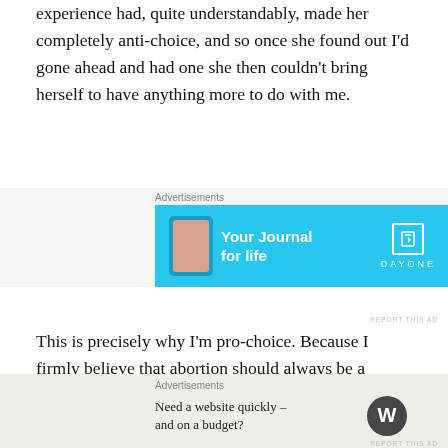experience had, quite understandably, made her completely anti-choice, and so once she found out I'd gone ahead and had one she then couldn't bring herself to have anything more to do with me.
[Figure (infographic): Advertisement banner for DayOne journal app. Cyan/blue background with phone image on left, text 'Your Journal for life' in center, and DayOne logo/icon on right.]
This is precisely why I'm pro-choice. Because I firmly believe that abortion should always be a woman's choice, not something that's forced on her either by other people directly as in H's case, or out of fear of how they'll react to a pregnancy, which is what happened to Musil when she got pregnant at 19.
[Figure (infographic): Advertisement for WordPress. Beige/tan background with text 'Need a website quickly – and on a budget?' and WordPress logo on right.]